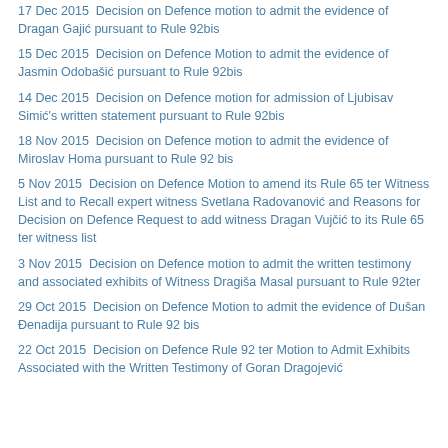17 Dec 2015  Decision on Defence motion to admit the evidence of Dragan Gajić pursuant to Rule 92bis
15 Dec 2015  Decision on Defence Motion to admit the evidence of Jasmin Odobašić pursuant to Rule 92bis
14 Dec 2015  Decision on Defence motion for admission of Ljubisav Simić's written statement pursuant to Rule 92bis
18 Nov 2015  Decision on Defence motion to admit the evidence of Miroslav Homa pursuant to Rule 92 bis
5 Nov 2015  Decision on Defence Motion to amend its Rule 65 ter Witness List and to Recall expert witness Svetlana Radovanović and Reasons for Decision on Defence Request to add witness Dragan Vujčić to its Rule 65 ter witness list
3 Nov 2015  Decision on Defence motion to admit the written testimony and associated exhibits of Witness Dragiša Masal pursuant to Rule 92ter
29 Oct 2015  Decision on Defence Motion to admit the evidence of Dušan Đenadija pursuant to Rule 92 bis
22 Oct 2015  Decision on Defence Rule 92 ter Motion to Admit Exhibits Associated with the Written Testimony of Goran Dragojević